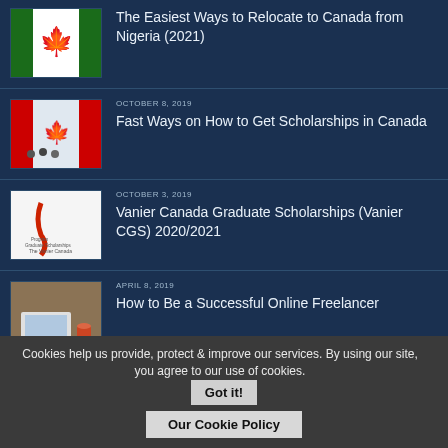The Easiest Ways to Relocate to Canada from Nigeria (2021)
OCTOBER 8, 2019 — Fast Ways on How to Get Scholarships in Canada
OCTOBER 3, 2019 — Vanier Canada Graduate Scholarships (Vanier CGS) 2020/2021
APRIL 8, 2019 — How to Be a Successful Online Freelancer
MARCH 17, 2019
Cookies help us provide, protect & improve our services. By using our site, you agree to our use of cookies.
Got it!
Our Cookie Policy